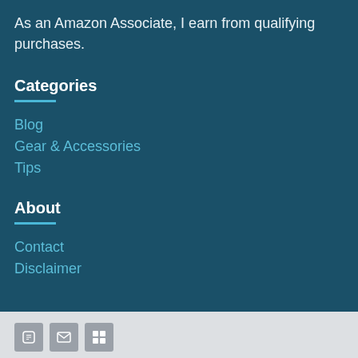As an Amazon Associate, I earn from qualifying purchases.
Categories
Blog
Gear & Accessories
Tips
About
Contact
Disclaimer
[Figure (other): Social media icons row at bottom of page]